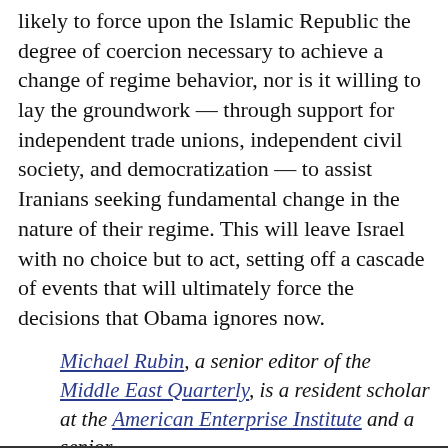likely to force upon the Islamic Republic the degree of coercion necessary to achieve a change of regime behavior, nor is it willing to lay the groundwork — through support for independent trade unions, independent civil society, and democratization — to assist Iranians seeking fundamental change in the nature of their regime. This will leave Israel with no choice but to act, setting off a cascade of events that will ultimately force the decisions that Obama ignores now.
Michael Rubin, a senior editor of the Middle East Quarterly, is a resident scholar at the American Enterprise Institute and a senior